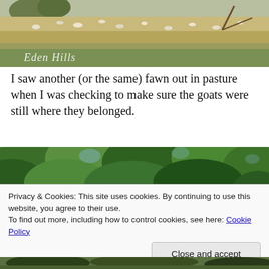[Figure (photo): Pastoral scene with goats grazing in a field with dry grass, trees, and hills in the background. Watermark text 'Eden Hills' in white italic script in the lower left.]
I saw another (or the same) fawn out in pasture when I was checking to make sure the goats were still where they belonged.
[Figure (photo): Dense green tree canopy photographed from below, lush summer foliage.]
Privacy & Cookies: This site uses cookies. By continuing to use this website, you agree to their use.
To find out more, including how to control cookies, see here: Cookie Policy
[Figure (photo): Partial bottom photo showing green grass and dark trees at the very bottom of the page.]